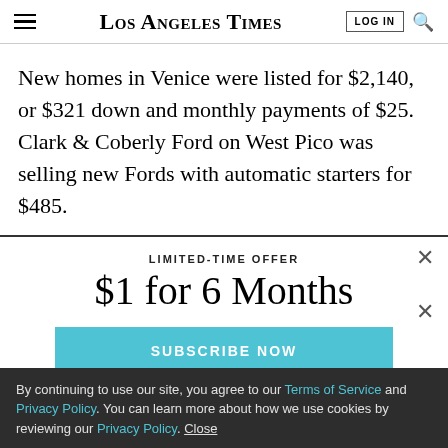Los Angeles Times
New homes in Venice were listed for $2,140, or $321 down and monthly payments of $25. Clark & Coberly Ford on West Pico was selling new Fords with automatic starters for $485.
LIMITED-TIME OFFER
$1 for 6 Months
SUBSCRIBE NOW
By continuing to use our site, you agree to our Terms of Service and Privacy Policy. You can learn more about how we use cookies by reviewing our Privacy Policy. Close